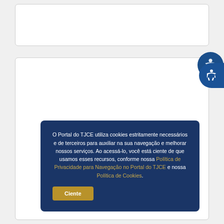[Figure (screenshot): Top white card panel — empty content area]
[Figure (screenshot): Bottom white card panel with cookie consent banner overlay and accessibility button]
O Portal do TJCE utiliza cookies estritamente necessários e de terceiros para auxiliar na sua navegação e melhorar nossos serviços. Ao acessá-lo, você está ciente de que usamos esses recursos, conforme nossa Política de Privacidade para Navegação no Portal do TJCE e nossa Política de Cookies.
Ciente